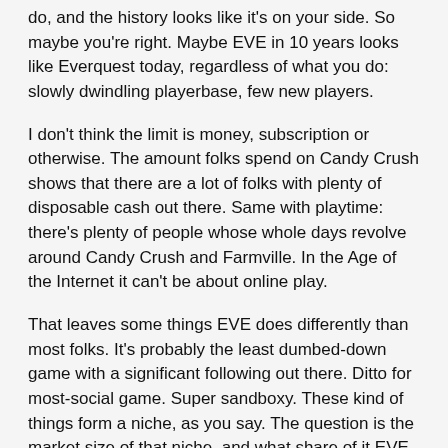do, and the history looks like it's on your side. So maybe you're right. Maybe EVE in 10 years looks like Everquest today, regardless of what you do: slowly dwindling playerbase, few new players.
I don't think the limit is money, subscription or otherwise. The amount folks spend on Candy Crush shows that there are a lot of folks with plenty of disposable cash out there. Same with playtime: there's plenty of people whose whole days revolve around Candy Crush and Farmville. In the Age of the Internet it can't be about online play.
That leaves some things EVE does differently than most folks. It's probably the least dumbed-down game with a significant following out there. Ditto for most-social game. Super sandboxy. These kind of things form a niche, as you say. The question is the market size of that niche, and what share of it EVE could capture. It's a hard question, and the answer is probably grim.